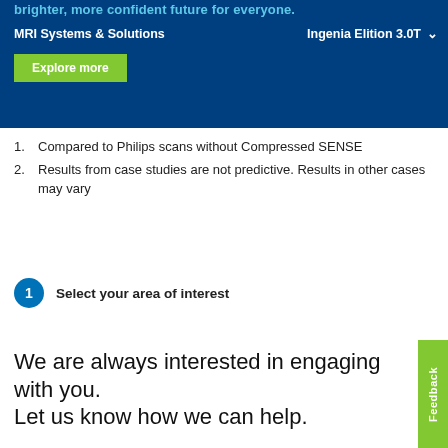[Figure (screenshot): Philips MRI website banner with dark blue background, tagline 'brighter, more confident future for everyone.', navigation showing 'MRI Systems & Solutions' and 'Ingenia Elition 3.0T' with chevron, and a green 'Explore more' button.]
Compared to Philips scans without Compressed SENSE
Results from case studies are not predictive. Results in other cases may vary
1  Select your area of interest
We are always interested in engaging with you.
Let us know how we can help.